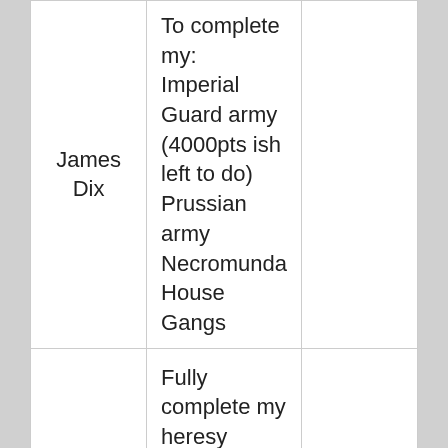| James Dix | To complete my:
Imperial Guard army (4000pts ish left to do)
Prussian army
Necromunda House Gangs |  |
|  | Fully complete my heresy blood angels and sanguinius (if when he drops) |  |